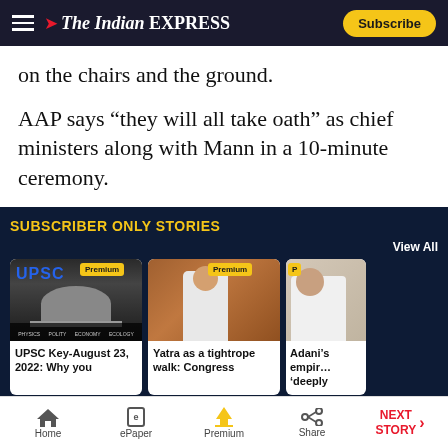The Indian Express — Subscribe
on the chairs and the ground.
AAP says “they will all take oath” as chief ministers along with Mann in a 10-minute ceremony.
SUBSCRIBER ONLY STORIES
View All
[Figure (photo): UPSC article thumbnail showing Indian Parliament building with crowd, labeled UPSC with Premium badge]
UPSC Key-August 23, 2022: Why you
[Figure (photo): Photo of Rahul Gandhi speaking at an event, with Premium badge, for article about Yatra as a tightrope walk]
Yatra as a tightrope walk: Congress
[Figure (photo): Partial photo of Adani with Premium badge for article about Adani's empire]
Adani’s empir… ‘deeply
Home | ePaper | Premium | Share | NEXT STORY